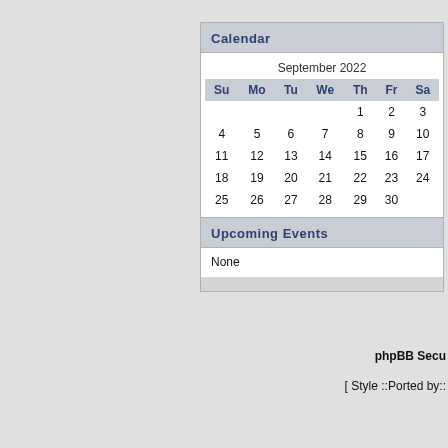Calendar
| Su | Mo | Tu | We | Th | Fr | Sa |
| --- | --- | --- | --- | --- | --- | --- |
|  |  |  |  | 1 | 2 | 3 |
| 4 | 5 | 6 | 7 | 8 | 9 | 10 |
| 11 | 12 | 13 | 14 | 15 | 16 | 17 |
| 18 | 19 | 20 | 21 | 22 | 23 | 24 |
| 25 | 26 | 27 | 28 | 29 | 30 |  |
Upcoming Events
None
phpBB Secu
[ Style ::Ported by::